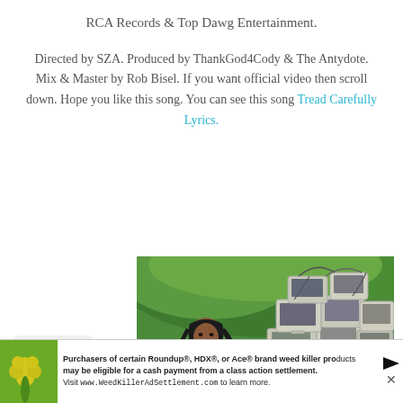RCA Records & Top Dawg Entertainment.
Directed by SZA. Produced by ThankGod4Cody & The Antydote. Mix & Master by Rob Bisel. If you want official video then scroll down. Hope you like this song. You can see this song Tread Carefully Lyrics.
[Figure (photo): A woman with long dark hair standing in front of a pile of old CRT computer monitors and keyboards, with green foliage in the background.]
Purchasers of certain Roundup®, HDX®, or Ace® brand weed killer products may be eligible for a cash payment from a class action settlement. Visit www.WeedKillerAdSettlement.com to learn more.